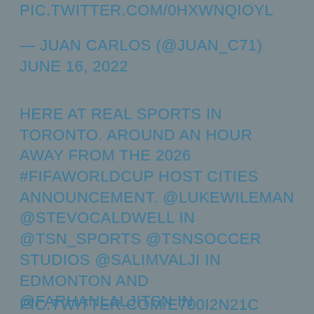PIC.TWITTER.COM/0HXWNQIOYL
— JUAN CARLOS (@JUAN_C71) JUNE 16, 2022
HERE AT REAL SPORTS IN TORONTO. AROUND AN HOUR AWAY FROM THE 2026 #FIFAWORLDCUP HOST CITIES ANNOUNCEMENT. @LUKEWILEMAN @STEVOCALDWELL IN @TSN_SPORTS @TSNSOCCER STUDIOS @SALIMVALJI IN EDMONTON AND @FARHANLALJITSN IN VANCOUVER. SEE YOU AT 5PM ET/2PM PT
PIC.TWITTER.COM/E700I2N21C